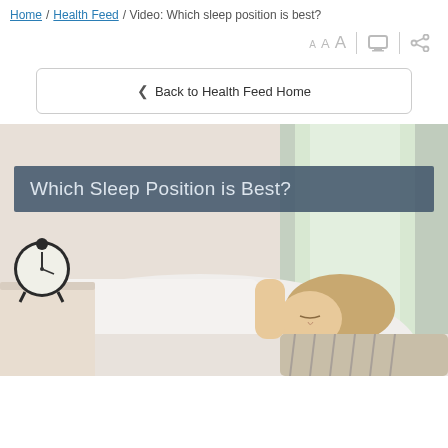Home / Health Feed / Video: Which sleep position is best?
A A A | print | share
< Back to Health Feed Home
[Figure (photo): A woman sleeping in bed with a clock on the bedside table, bright window in the background. Overlay text reads: Which Sleep Position is Best?]